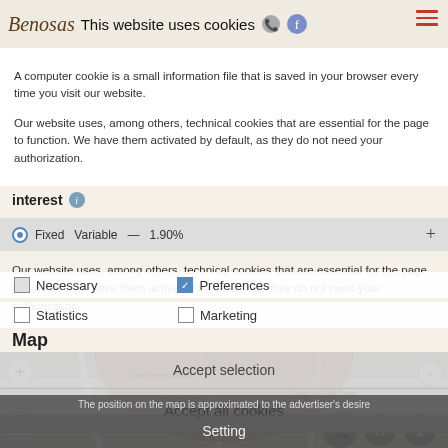Benelosas | This website uses cookies
A computer cookie is a small information file that is saved in your browser every time you visit our website.
Our website uses, among others, technical cookies that are essential for the page to function. We have them activated by default, as they do not need your authorization.
interest
Fixed | Variable | — | 1.90% | +
Your monthly fee  1.677,34 €
More information in our section COOKIES POLICY.
These results are indicative, calculated with the numbers you have entered.
Necessary | Preferences
Map
Statistics | Marketing
[Figure (map): Street map showing location near Calle Espronceda, with Carrer de Sant Carles visible. Map has zoom controls and a red semi-circle overlay.]
Accept selection
Accept all cookies
The position on the map is approximated to the advertiser's desire
Setting